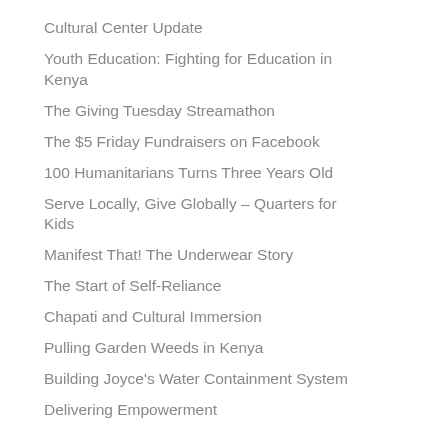Cultural Center Update
Youth Education: Fighting for Education in Kenya
The Giving Tuesday Streamathon
The $5 Friday Fundraisers on Facebook
100 Humanitarians Turns Three Years Old
Serve Locally, Give Globally – Quarters for Kids
Manifest That! The Underwear Story
The Start of Self-Reliance
Chapati and Cultural Immersion
Pulling Garden Weeds in Kenya
Building Joyce's Water Containment System
Delivering Empowerment